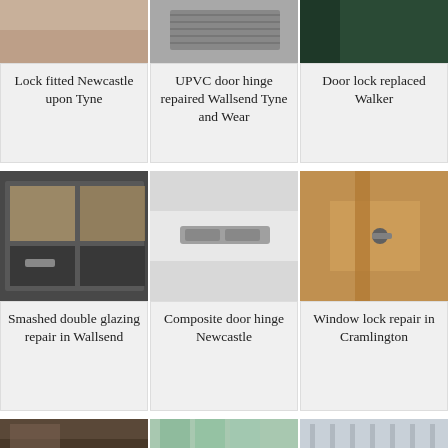[Figure (photo): Three photos of doors/windows/locks at top — beige wall, metal grille, dark green door]
Lock fitted Newcastle upon Tyne
UPVC door hinge repaired Wallsend Tyne and Wear
Door lock replaced Walker
[Figure (photo): Three photos of window locks, door hinges, and wooden frame locks in middle section]
Smashed double glazing repair in Wallsend
Composite door hinge Newcastle
Window lock repair in Cramlington
[Figure (photo): Three photos of glass panels and window components at bottom]